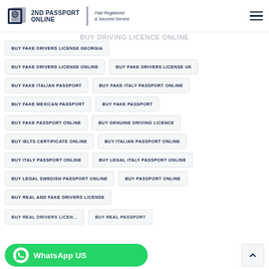BUY DOCUMENTS ONLINE | BUY DRIVER'S LICENCE ONLINE
[Figure (logo): 2ND PASSPORT ONLINE logo with globe icon and tagline Fast Registered & Secured Service]
BUY FAKE DRIVERS LICENSE GEORGIA
BUY FAKE DRIVERS LICENSE ONLINE
BUY FAKE DRIVERS LICENSE UK
BUY FAKE ITALIAN PASSPORT
BUY FAKE ITALY PASSPORT ONLINE
BUY FAKE MEXICAN PASSPORT
BUY FAKE PASSPORT
BUY FAKE PASSPORT ONLINE
BUY GENUINE DRIVING LICENCE
BUY IELTS CERTIFICATE ONLINE
BUY ITALIAN PASSPORT ONLINE
BUY ITALY PASSPORT ONLINE
BUY LEGAL ITALY PASSPORT ONLINE
BUY LEGAL SWEDISH PASSPORT ONLINE
BUY PASSPORT ONLINE
BUY REAL AND FAKE DRIVERS LICENSE
BUY REAL PASSPORT